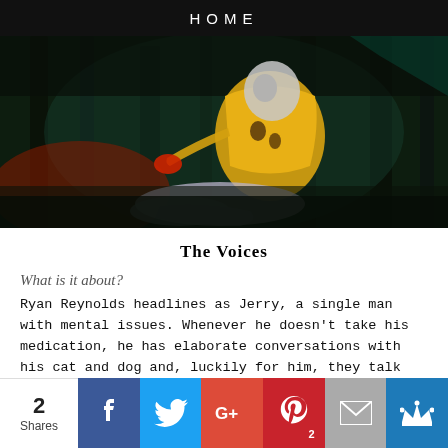HOME
[Figure (photo): Scene from The Voices film: a person in a yellow hoodie crouching over another person in a dark forest setting]
The Voices
What is it about?
Ryan Reynolds headlines as Jerry, a single man with mental issues. Whenever he doesn't take his medication, he has elaborate conversations with his cat and dog and, luckily for him, they talk back. But pets don't always give good advice, especially not cats, and especially not when that advice is about
2 Shares | Facebook | Twitter | Google+ | Pinterest 2 | Email | Crown